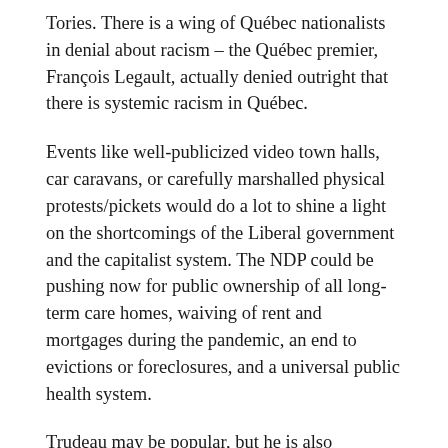Tories. There is a wing of Québec nationalists in denial about racism – the Québec premier, François Legault, actually denied outright that there is systemic racism in Québec.
Events like well-publicized video town halls, car caravans, or carefully marshalled physical protests/pickets would do a lot to shine a light on the shortcomings of the Liberal government and the capitalist system. The NDP could be pushing now for public ownership of all long-term care homes, waiving of rent and mortgages during the pandemic, an end to evictions or foreclosures, and a universal public health system.
Trudeau may be popular, but he is also vulnerable, especially from the left. The NDP could start now building support for a jobs program to reconstruct the Canadian economy and society after the devastation of COVID-19 and a world economic depression. This program could combine tackling the climate crisis with providing jobs and building affordable homes – all vital for Canadians' well-being. Restarting the economy will